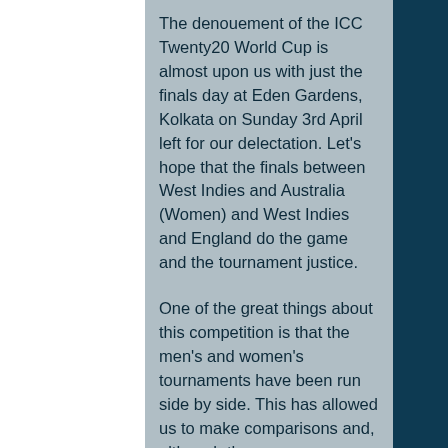The denouement of the ICC Twenty20 World Cup is almost upon us with just the finals day at Eden Gardens, Kolkata on Sunday 3rd April left for our delectation. Let's hope that the finals between West Indies and Australia (Women) and West Indies and England do the game and the tournament justice.
One of the great things about this competition is that the men's and women's tournaments have been run side by side. This has allowed us to make comparisons and, although they say comparisons are odious, they can also be very instructive. Unfortunately here, in virtually all aspects, the women's game has been found wanting